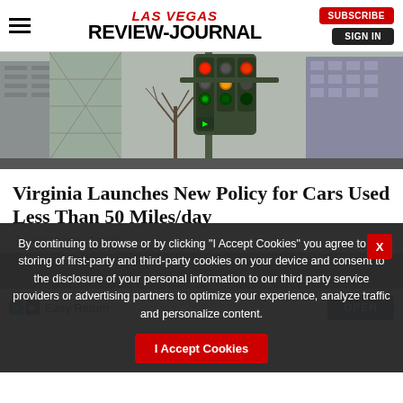LAS VEGAS REVIEW-JOURNAL | SUBSCRIBE | SIGN IN
[Figure (photo): Traffic lights cluster on a pole with construction building and bare trees in background, urban street scene]
Virginia Launches New Policy for Cars Used Less Than 50 Miles/day
Smart Lifestyle Trends
[Figure (photo): Close-up circular/spiral mechanical or metallic object, partially visible]
By continuing to browse or by clicking “I Accept Cookies” you agree to the storing of first-party and third-party cookies on your device and consent to the disclosure of your personal information to our third party service providers or advertising partners to optimize your experience, analyze traffic and personalize content.
I Accept Cookies
Easy Return | OPEN